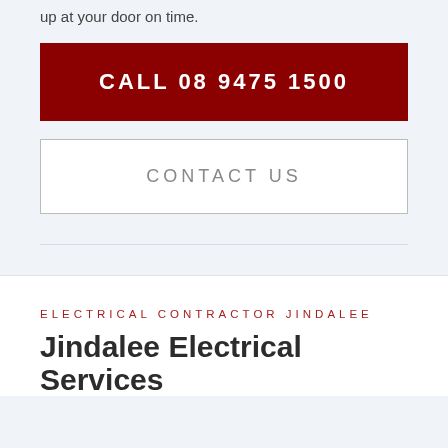up at your door on time.
CALL 08 9475 1500
CONTACT US
ELECTRICAL CONTRACTOR JINDALEE
Jindalee Electrical Services